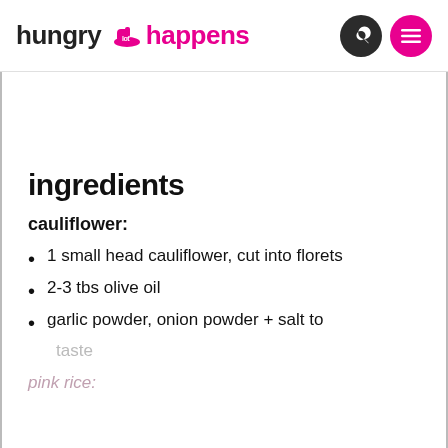hungry happens
ingredients
cauliflower:
1 small head cauliflower, cut into florets
2-3 tbs olive oil
garlic powder, onion powder + salt to taste
pink rice: